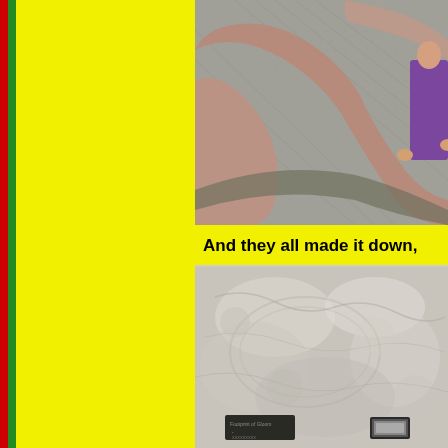[Figure (photo): Close-up photo of rusty metal rods or bones on a metallic grated surface, with a person visible in the background wearing purple clothing]
And they all made it down,
[Figure (photo): Photo of a stone or concrete surface showing inscribed patterns or fossils, with small informational plaques visible at the bottom, one reading 'Footprint of Gloom']